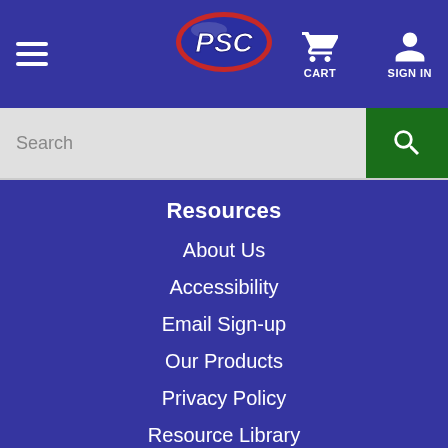PSC - CART SIGN IN header navigation
[Figure (logo): PSC logo — red oval outline with blue background, white letters PSC in italic bold]
Search
Resources
About Us
Accessibility
Email Sign-up
Our Products
Privacy Policy
Resource Library
Terms and Conditions
Terms of Use
Video Library